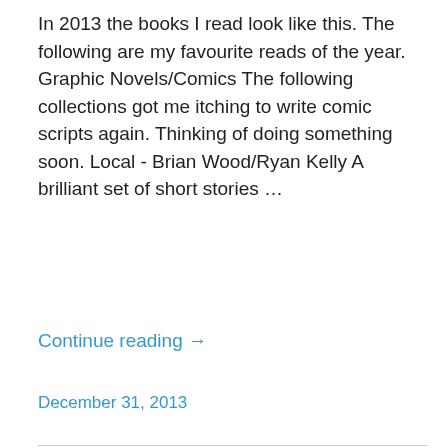In 2013 the books I read look like this. The following are my favourite reads of the year. Graphic Novels/Comics The following collections got me itching to write comic scripts again. Thinking of doing something soon. Local - Brian Wood/Ryan Kelly A brilliant set of short stories …
Continue reading →
December 31, 2013
[Figure (photo): Book cover image showing a close-up of skin or organic texture under a leaf, with a quote: 'Suburbia in all its tarnished glory — Carys Bray teases at the cracks, and pulls at all the loose threads dangling, in short stories that are funny and sad and achingly true.' — Rob Shearman. Salt publisher logo in top right.]